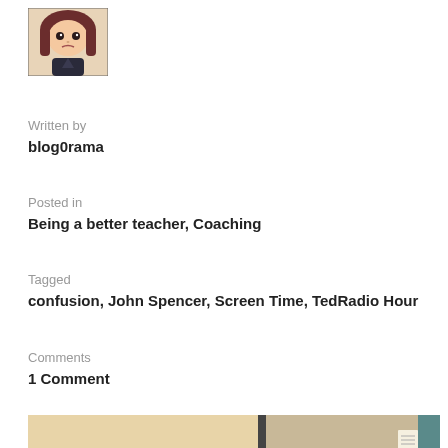[Figure (illustration): Anime-style avatar of a girl with brown hair and dark clothing]
Written by
blog0rama
Posted in
Being a better teacher, Coaching
Tagged
confusion, John Spencer, Screen Time, TedRadio Hour
Comments
1 Comment
[Figure (photo): Partial image of a cartoon/illustration on a tan/beige background showing a brown curly shape, with a dark divider line and a teal/blue element on the right edge]